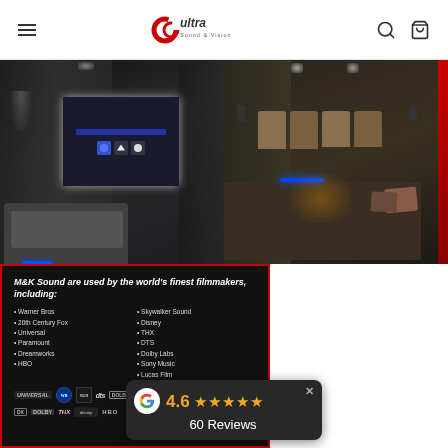Ultra Sound & Vision — navigation header with logo, hamburger menu, search and cart icons
[Figure (photo): Left hero photo: dark home cinema room with large projection screen showing a smart home control panel UI, recliner seating, and dark textured walls with ambient lighting]
[Figure (photo): Right hero photo: home cinema room with multiple recliner seats in rows, wall-mounted speakers, red accent strip on ceiling, blue LED underlighting, and decorative pillows on sofa]
[Figure (infographic): Dark panel with red border listing M&K Sound used by world's finest filmmakers including Warner Bros, 20th Century Fox, Universal, Paramount, Dreamworks, HBO, Skywalker Sound, Disney, THX, DTS, Dolby Labs, Sony Music, Lucas Film. Shows studio logos at bottom including Universal, Warner Bros, Dolby, THX, DTS, Paramount.]
M&K Sound are used by the world's finest filmmakers, including:
Warner Bros
20th Century Fox
Universal
Paramount
Dreamworks
HBO
Skywalker Sound
Disney
THX
DTS
Dolby Labs
Sony Music
Lucas Film
[Figure (infographic): Google review badge showing 4.6 stars (5 gold stars) and 60 Reviews]